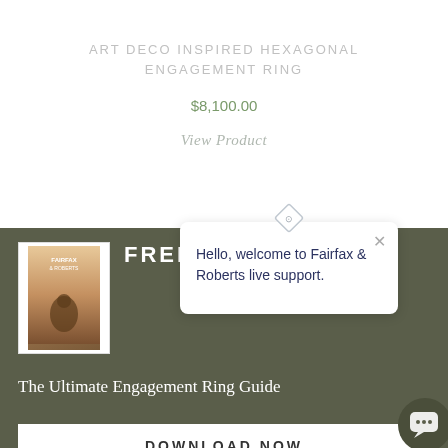ART DECO INSPIRED HEXAGONAL ENGAGEMENT RING
$8,100.00
View Product
FREE EBOOK
[Figure (photo): Ebook cover photo showing a couple, used as a book thumbnail]
Hello, welcome to Fairfax & Roberts live support.
The Ultimate Engagement Ring Guide
DOWNLOAD NOW